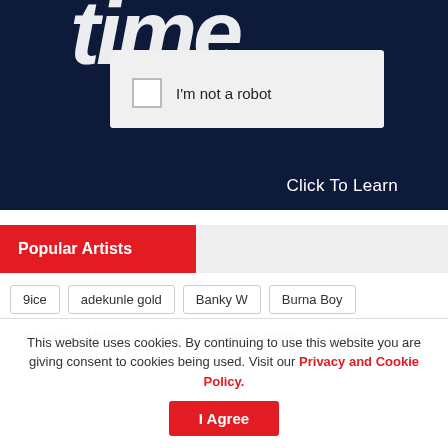[Figure (screenshot): Dark navy banner with stylized italic logo text partially visible at top, and a reCAPTCHA-style checkbox widget with 'I'm not a robot' label on a light gray box, plus 'Click To Learn' text at bottom right of the banner.]
Popular Artists
9ice
adekunle gold
Banky W
Burna Boy
Burna Boy News
CDQ
dammy krane
Davido
This website uses cookies. By continuing to use this website you are giving consent to cookies being used. Visit our Privacy and Cookie Policy.
I Agree